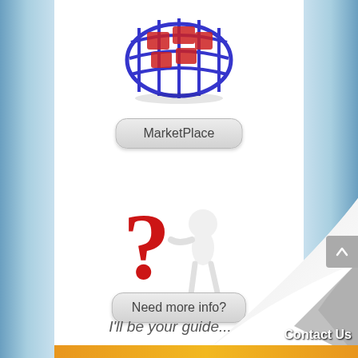[Figure (illustration): Shopping basket icon with red blocks inside, blue wire frame basket, partial view at top of page]
MarketPlace
[Figure (illustration): White 3D figure character leaning against a large red question mark]
Need more info?
I'll be your guide...
Contact Us